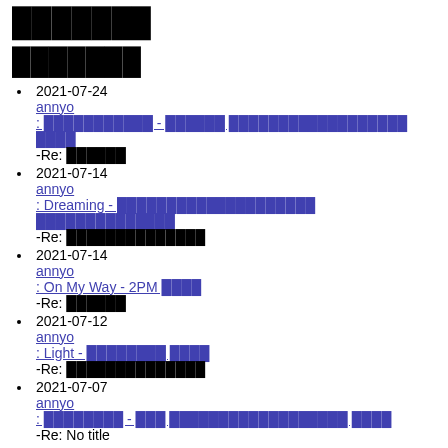███████
███████
2021-07-24
annyo
: ███████████ - ██████ ██████████████████ ████
-Re: ██████
2021-07-14
annyo
: Dreaming - ████████████████████ ██████████████
-Re: ██████████████
2021-07-14
annyo
: On My Way - 2PM ████
-Re: ██████
2021-07-12
annyo
: Light - ████████ ████
-Re: ██████████████
2021-07-07
annyo
: ████████ - ███ ██████████████████ ████
-Re: No title